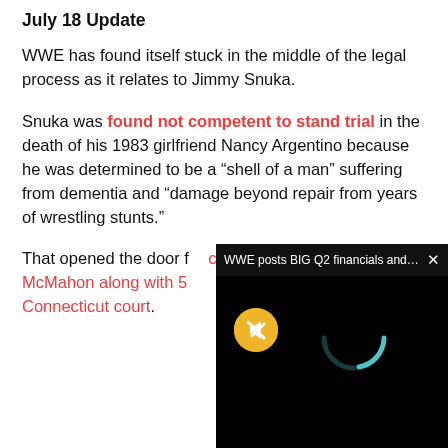July 18 Update
WWE has found itself stuck in the middle of the legal process as it relates to Jimmy Snuka.
Snuka was found not competent to stand trial in the death of his 1983 girlfriend Nancy Argentino because he was determined to be a “shell of a man” suffering from dementia and “damage beyond repair from years of wrestling stunts.”
That opened the door for concussion-related lawsuits against McMahon along with 5... Connecticut court.
[Figure (screenshot): Video popup overlay showing 'WWE posts BIG Q2 financials and Wrestl...' with a mute button (orange circle with mute icon) and a loading spinner on black background, with a close X button.]
On the other hand, if Snuka had been found competent to stand trial in the Argentino case, it would have opened the door for a potential review of how the legal process was handled in 1983 when Argentino originally died and Snuka,